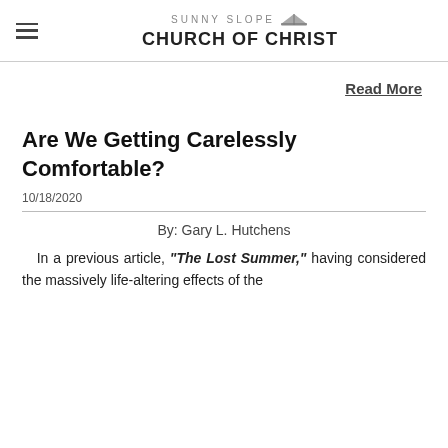SUNNY SLOPE CHURCH OF CHRIST
Read More
Are We Getting Carelessly Comfortable?
10/18/2020
By: Gary L. Hutchens
In a previous article, "The Lost Summer," having considered the massively life-altering effects of the